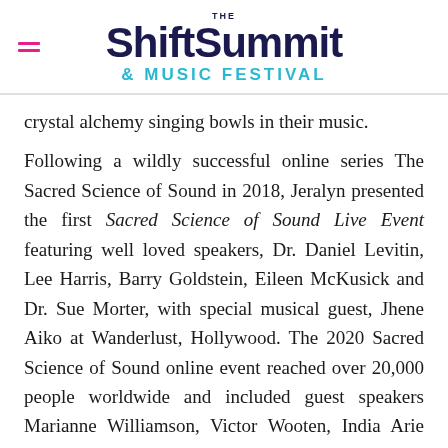THE Shift Summit & MUSIC FESTIVAL
crystal alchemy singing bowls in their music.
Following a wildly successful online series The Sacred Science of Sound in 2018, Jeralyn presented the first Sacred Science of Sound Live Event featuring well loved speakers, Dr. Daniel Levitin, Lee Harris, Barry Goldstein, Eileen McKusick and Dr. Sue Morter, with special musical guest, Jhene Aiko at Wanderlust, Hollywood. The 2020 Sacred Science of Sound online event reached over 20,000 people worldwide and included guest speakers Marianne Williamson, Victor Wooten, India Arie and Bruce Lipton among others.
She offers private and group sound experiences,